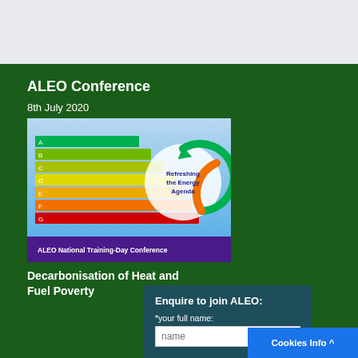ALEO Conference
8th July 2020
[Figure (illustration): ALEO National Training-Day Conference banner showing an EPC energy rating chart (A through G, green to red) and a circular arrow graphic with text 'Refreshing the Energy Agenda' on a blue background with purple footer bar.]
Decarbonisation of Heat and Fuel Poverty
Enquire to join ALEO:
*your full name:
Cookies Info ^